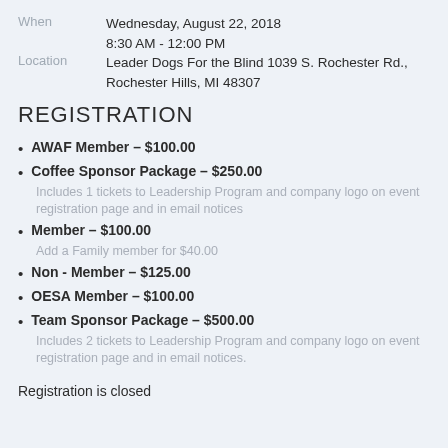When: Wednesday, August 22, 2018
8:30 AM - 12:00 PM
Location: Leader Dogs For the Blind 1039 S. Rochester Rd., Rochester Hills, MI 48307
REGISTRATION
AWAF Member – $100.00
Coffee Sponsor Package – $250.00
Includes 1 tickets to Leadership Program and company logo on event registration page and in email notices
Member – $100.00
Add a Family member for $40.00
Non - Member – $125.00
OESA Member – $100.00
Team Sponsor Package – $500.00
Includes 2 tickets to Leadership Program and company logo on event registration page and in email notices.
Registration is closed